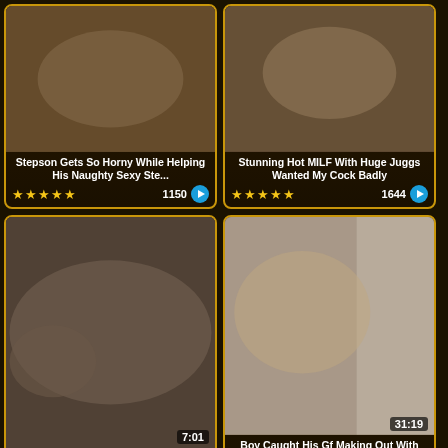[Figure (screenshot): Video thumbnail grid showing adult video website with 6 video cards in 2 columns. Row 1: 'Stepson Gets So Horny While Helping His Naughty Sexy Ste...' 1150 views 5 stars; 'Stunning Hot MILF With Huge Juggs Wanted My Cock Badly' 1644 views 4.5 stars. Row 2: 'Beautiful brunette fucking in thigh high stockings' 7:01 duration 1762 views 4.5 stars; 'Boy Caught His Gf Making Out With His MILF Stepmother' 31:19 duration 1342 views 4.5 stars. Row 3: Two partially visible thumbnails.]